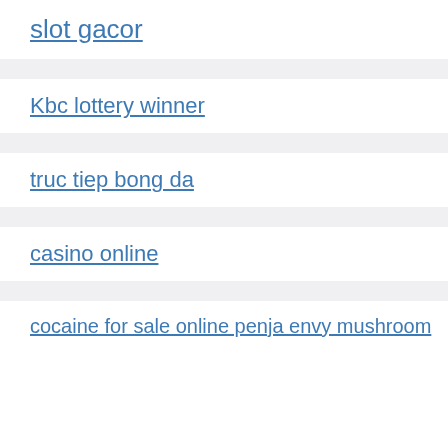slot gacor
Kbc lottery winner
truc tiep bong da
casino online
cocaine for sale online penja envy mushroom